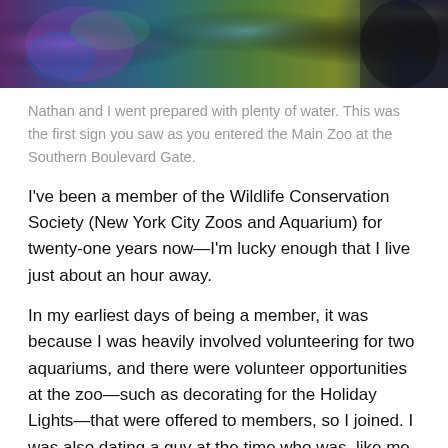[Figure (photo): Close-up colorful photo strip showing decorative patterns and textures, partially cut off at top of page]
Nathan and I went prepared with plenty of water. This was the first sign you saw as you entered the Main Zoo at the Southern Boulevard Gate.
I've been a member of the Wildlife Conservation Society (New York City Zoos and Aquarium) for twenty-one years now—I'm lucky enough that I live just about an hour away.
In my earliest days of being a member, it was because I was heavily involved volunteering for two aquariums, and there were volunteer opportunities at the zoo—such as decorating for the Holiday Lights—that were offered to members, so I joined. I was also dating a guy at the time who was, like me, an aquarium volunteer and loved animals. Most of our dates involved, if not the Bronx Zoo